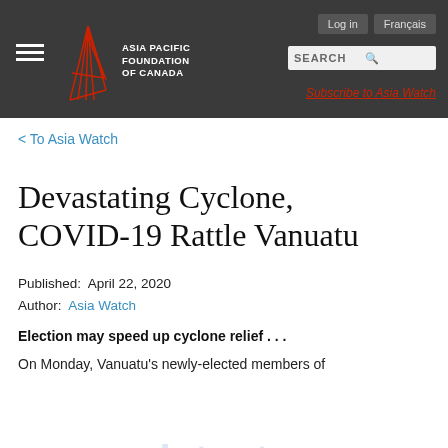Asia Pacific Foundation of Canada | Log in | Français | SEARCH | Subscribe to Asia Watch
< To Asia Watch
Devastating Cyclone, COVID-19 Rattle Vanuatu
Published:  April 22, 2020
Author:  Asia Watch
Election may speed up cyclone relief . . .
On Monday, Vanuatu's newly-elected members of